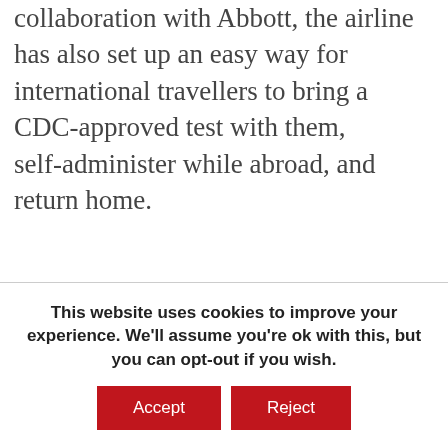digital platforms. Through its collaboration with Abbott, the airline has also set up an easy way for international travellers to bring a CDC-approved test with them, self-administer while abroad, and return home.
This website uses cookies to improve your experience. We'll assume you're ok with this, but you can opt-out if you wish.